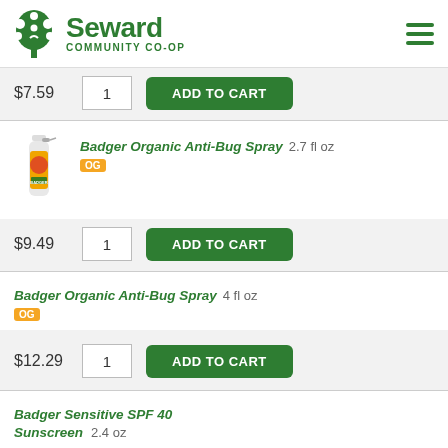Seward Community Co-op
$7.59  1  ADD TO CART
[Figure (photo): Badger Organic Anti-Bug Spray product bottle, 2.7 fl oz]
Badger Organic Anti-Bug Spray  2.7 fl oz  OG  $9.49  1  ADD TO CART
Badger Organic Anti-Bug Spray  4 fl oz  OG  $12.29  1  ADD TO CART
Badger Sensitive SPF 40 Sunscreen  2.4 oz